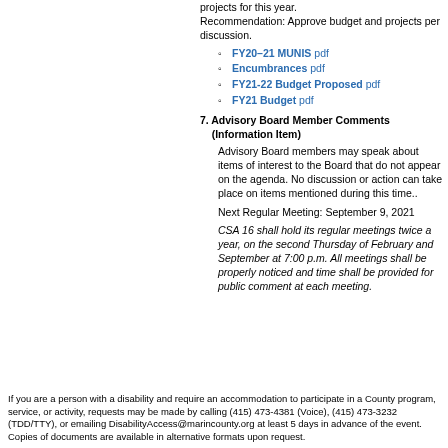projects for this year. Recommendation: Approve budget and projects per discussion.
FY20–21 MUNIS pdf
Encumbrances pdf
FY21-22 Budget Proposed pdf
FY21 Budget pdf
7. Advisory Board Member Comments (Information Item)
Advisory Board members may speak about items of interest to the Board that do not appear on the agenda. No discussion or action can take place on items mentioned during this time..
Next Regular Meeting: September 9, 2021
CSA 16 shall hold its regular meetings twice a year, on the second Thursday of February and September at 7:00 p.m. All meetings shall be properly noticed and time shall be provided for public comment at each meeting.
If you are a person with a disability and require an accommodation to participate in a County program, service, or activity, requests may be made by calling (415) 473-4381 (Voice), (415) 473-3232 (TDD/TTY), or emailing DisabilityAccess@marincounty.org at least 5 days in advance of the event. Copies of documents are available in alternative formats upon request.